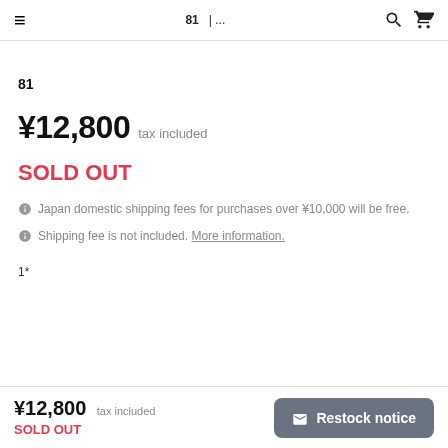81  &#65532;&#65532;&#65532;&#65532;&#65532;&#65532;&#65532;&#65532;&#65532;&#65532;&#65532;&#65532;&#65532;&#65532;&#65532;&#65532;&#65532;&#65532;&#65532;&#65532; | &#65532;&#65532;&#65532;&#65532;...
81  &#65532;&#65532;&#65532;&#65532;&#65532;&#65532;&#65532;&#65532;&#65532;&#65532;&#65532;&#65532;&#65532;&#65532;&#65532;&#65532;&#65532;&#65532;&#65532;&#65532;&#65532;
¥12,800  tax included
SOLD OUT
Japan domestic shipping fees for purchases over ¥10,000 will be free.
Shipping fee is not included. More information.
&#65532;1&#65532;&#65532;&#65532;&#65532;&#65532;&#65532;&#65532;&#65532;&#65532;&#65532;&#65532;&#65532;*
&#65532;&#65532;&#65532;&#65532;&#65532;&#65532;&#65532;&#65532;&#65532;&#65532;&#65532;&#65532;&#65532;&#65532;&#65532;&#65532;&#65532;&#65532;&#65532;&#65532;&#65532;&#65532;&#65532;&#65532;
&#65532;&#65532;&#65532;&#65532;&#65532;&#65532;&#65532;&#65532;&#65532;&#65532;&#65532;&#65532;&#65532;&#65532;&#65532;&#65532;&#65532;&#65532;&#65532;&#65532;&#65532;&#65532;&#65532;&#65532;
&#65532;&#65532;&#65532;&#65532;&#65532;&#65532;&#65532;&#65532;&#65532;&#65532;&#65532;&#65532;&#65532;&#65532;&#65532;&#65532;&#65532;&#65532;&#65532;&#65532;&#65532;&#65532;&#65532;&#65532;&#65532;&#65532;&#65532;&#65532;&#65532;&#65532;&#65532;&#65532;
&#65532;&#65532;&#65532;&#65532;&#65532;&#65532;&#65532;&#65532;&#65532;&#65532;&#65532;&#65532;
¥12,800  tax included  SOLD OUT  Restock notice